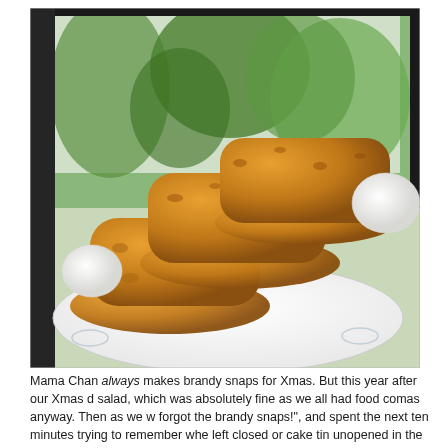[Figure (photo): Three golden-brown brandy snap tubes filled with white cream, stacked on a white floral-patterned plate, with a window and green plants visible in the background.]
Mama Chan always makes brandy snaps for Xmas. But this year after our Xmas d salad, which was absolutely fine as we all had food comas anyway. Then as we w forgot the brandy snaps!", and spent the next ten minutes trying to remember whe left closed or cake tin unopened in the quest to find the elusive snaps. They were container with brazil nuts (so she thought it was just a container with brazil nuts).